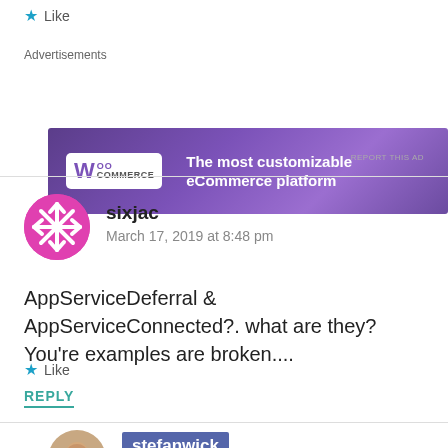★ Like
[Figure (other): WooCommerce advertisement banner: purple background with WooCommerce logo on left and text 'The most customizable eCommerce platform' on right]
Advertisements
REPORT THIS AD
[Figure (other): sixjac user avatar: circular pink/magenta snowflake-like icon]
sixjac
March 17, 2019 at 8:48 pm
AppServiceDeferral & AppServiceConnected?. what are they? You're examples are broken....
★ Like
REPLY
[Figure (photo): stefanwick user avatar: circular photo of a man with beard]
stefanwick
March 17, 2019 at 9:12